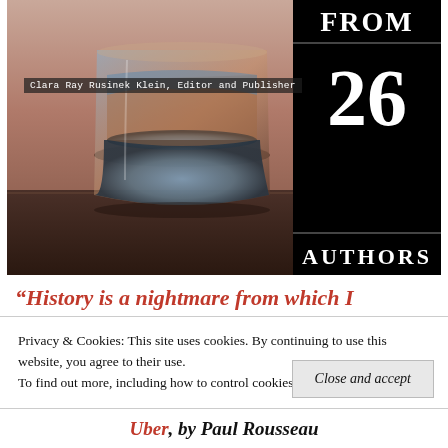[Figure (photo): Book cover image showing a glass with a reflective liquid surface and a sunset/landscape scene visible through the glass, set against a brown/mauve blurred background. Overlaid on the right side are three black boxes reading FROM, 26, AUTHORS.]
Clara Ray Rusinek Klein, Editor and Publisher
“History is a nightmare from which I
Privacy & Cookies: This site uses cookies. By continuing to use this website, you agree to their use.
To find out more, including how to control cookies, see here: Cookie Policy
Close and accept
Uber, by Paul Rousseau